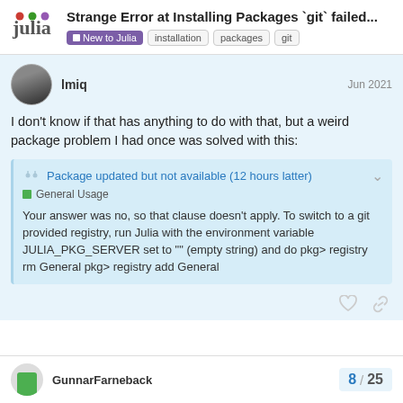Strange Error at Installing Packages `git` failed...
New to Julia  installation  packages  git
lmiq  Jun 2021
I don't know if that has anything to do with that, but a weird package problem I had once was solved with this:
Package updated but not available (12 hours latter)
General Usage
Your answer was no, so that clause doesn't apply. To switch to a git provided registry, run Julia with the environment variable JULIA_PKG_SERVER set to "" (empty string) and do pkg> registry rm General pkg> registry add General
GunnarFarneback  8 / 25